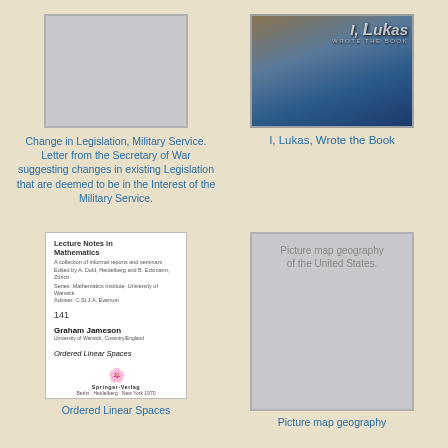[Figure (illustration): Gray placeholder book cover for 'Change in Legislation, Military Service' document]
[Figure (illustration): Book cover image for 'I, Lukas, Wrote the Book' with blue/brown rocky background and stylized text]
Change in Legislation, Military Service. Letter from the Secretary of War suggesting changes in existing Legislation that are deemed to be in the Interest of the Military Service.
I, Lukas, Wrote the Book
[Figure (illustration): Book cover for 'Ordered Linear Spaces' - Lecture Notes in Mathematics #141 by Graham Jameson, Springer-Verlag]
[Figure (illustration): Gray placeholder book cover for 'Picture map geography of the United States']
Ordered Linear Spaces
Picture map geography